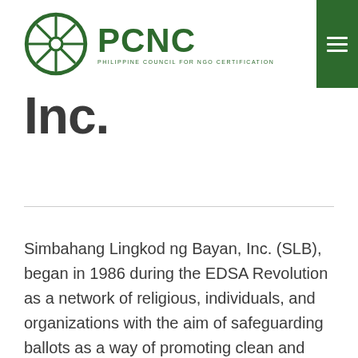PCNC — Philippine Council for NGO Certification
Inc.
Simbahang Lingkod ng Bayan, Inc. (SLB), began in 1986 during the EDSA Revolution as a network of religious, individuals, and organizations with the aim of safeguarding ballots as a way of promoting clean and credible elections. SLB was registered with the SEC as a non-stock, non-profit corporation on